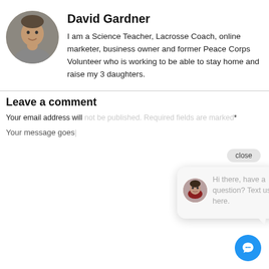[Figure (photo): Circular profile photo of David Gardner, a smiling middle-aged man]
David Gardner
I am a Science Teacher, Lacrosse Coach, online marketer, business owner and former Peace Corps Volunteer who is working to be able to stay home and raise my 3 daughters.
Leave a comment
Your email address will not be published. Required fields are marked *
Your message goes here...
[Figure (screenshot): Chat widget popup with a woman's circular avatar photo and text 'Hi there, have a question? Text us here.' with a close button and blue chat icon button]